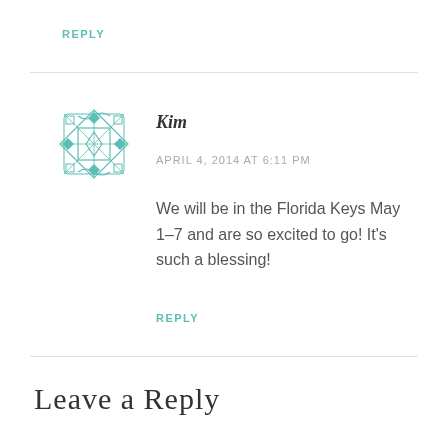REPLY
[Figure (illustration): Teal geometric snowflake/mandala avatar icon]
Kim
APRIL 4, 2014 AT 6:11 PM
We will be in the Florida Keys May 1-7 and are so excited to go! It’s such a blessing!
REPLY
Leave a Reply